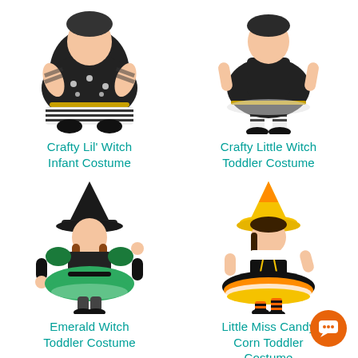[Figure (photo): Crafty Lil' Witch Infant Costume - baby in black witch dress with polka dot and striped details]
Crafty Lil' Witch Infant Costume
[Figure (photo): Crafty Little Witch Toddler Costume - toddler in black dress with striped leggings and gold trim]
Crafty Little Witch Toddler Costume
[Figure (photo): Emerald Witch Toddler Costume - girl in green and black witch costume with tall black hat]
Emerald Witch Toddler Costume
[Figure (photo): Little Miss Candy Corn Toddler Costume - girl in yellow, orange, black candy corn themed witch costume with orange/black striped tights]
Little Miss Candy Corn Toddler Costume